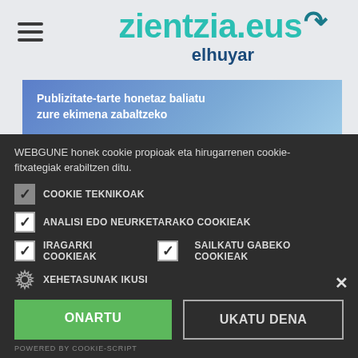[Figure (screenshot): Website header for zientzia.eus by elhuyar with hamburger menu and advertisement banner]
WEBGUNE honek cookie propioak eta hirugarrenen cookie-fitxategiak erabiltzen ditu.
COOKIE TEKNIKOAK (checked, greyed out)
ANALISI EDO NEURKETARAKO COOKIEAK (checked)
IRAGARKI COOKIEAK (checked)
SAILKATU GABEKO COOKIEAK (checked)
XEHETASUNAK IKUSI
ONARTU
UKATU DENA
POWERED BY COOKIE-SCRIPT